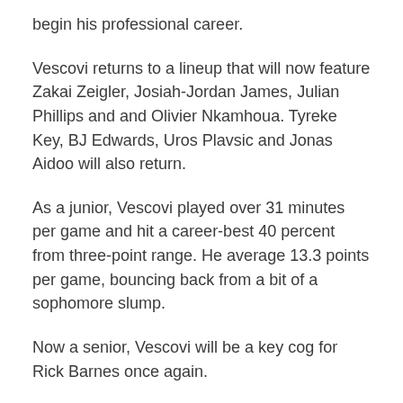begin his professional career.
Vescovi returns to a lineup that will now feature Zakai Zeigler, Josiah-Jordan James, Julian Phillips and and Olivier Nkamhoua. Tyreke Key, BJ Edwards, Uros Plavsic and Jonas Aidoo will also return.
As a junior, Vescovi played over 31 minutes per game and hit a career-best 40 percent from three-point range. He average 13.3 points per game, bouncing back from a bit of a sophomore slump.
Now a senior, Vescovi will be a key cog for Rick Barnes once again.
With Zeigler, James and Vescovi back, Barnes brings a stout core to the table for the 2022-23 season. Expect